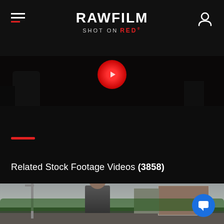RAWFILM — SHOT ON RED
[Figure (screenshot): Dark background with a glowing red circle (play button) and dark hand/arm silhouette, partial video frame]
[Figure (screenshot): Dark black mid-section with red horizontal dash accent line]
Related Stock Footage Videos (3858)
[Figure (screenshot): Outdoor scene with a person wearing a cap in foreground, street, lamp post, brick building in background under overcast sky]
[Figure (other): Blue circular chat/support button with speech bubble icon in bottom right corner]